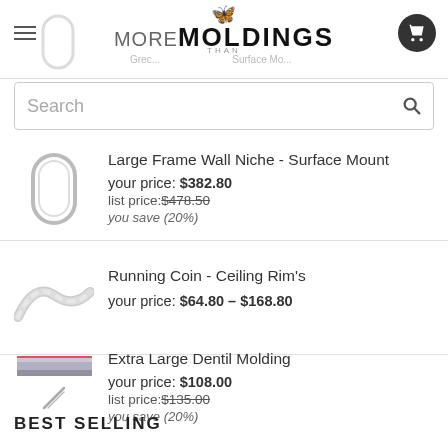More Than Moldings
Search
Large Frame Wall Niche - Surface Mount
your price: $382.80
list price: $478.50
you save (20%)
Running Coin - Ceiling Rim's
your price: $64.80 – $168.80
Extra Large Dentil Molding
your price: $108.00
list price: $135.00
you save (20%)
BEST SELLING